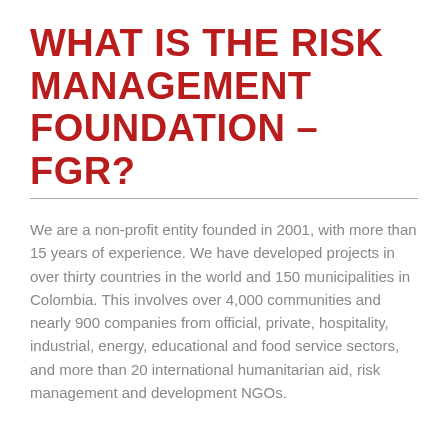WHAT IS THE RISK MANAGEMENT FOUNDATION - FGR?
We are a non-profit entity founded in 2001, with more than 15 years of experience. We have developed projects in over thirty countries in the world and 150 municipalities in Colombia. This involves over 4,000 communities and nearly 900 companies from official, private, hospitality, industrial, energy, educational and food service sectors, and more than 20 international humanitarian aid, risk management and development NGOs.